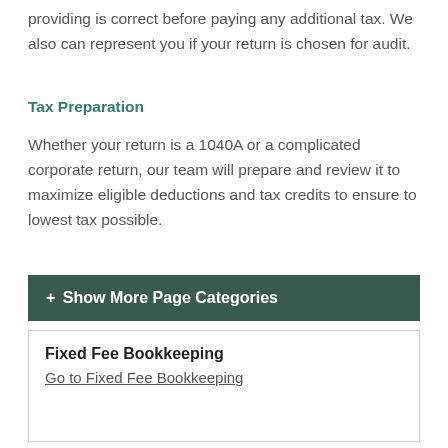providing is correct before paying any additional tax. We also can represent you if your return is chosen for audit.
Tax Preparation
Whether your return is a 1040A or a complicated corporate return, our team will prepare and review it to maximize eligible deductions and tax credits to ensure to lowest tax possible.
+ Show More Page Categories
Fixed Fee Bookkeeping
Go to Fixed Fee Bookkeeping